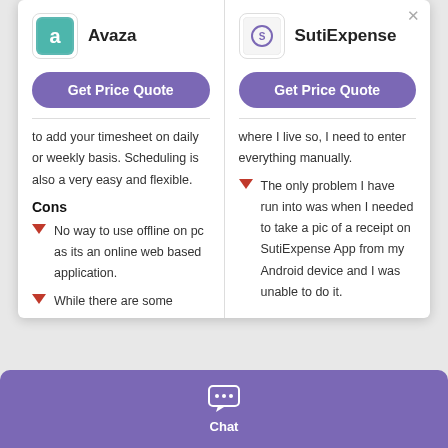[Figure (logo): Avaza logo - teal rounded square with stylized 'a' icon and 'avaza' text]
Avaza
[Figure (logo): SutiExpense logo - company icon]
SutiExpense
Get Price Quote
Get Price Quote
to add your timesheet on daily or weekly basis. Scheduling is also a very easy and flexible.
where I live so, I need to enter everything manually.
Cons
The only problem I have run into was when I needed to take a pic of a receipt on SutiExpense App from my Android device and I was unable to do it.
No way to use offline on pc as its an online web based application.
While there are some
Chat